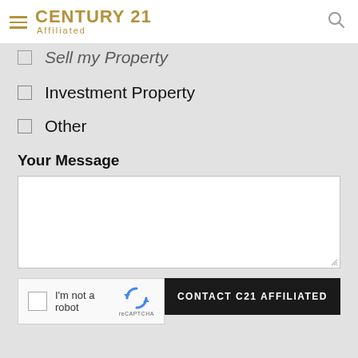CENTURY 21 Affiliated
Sell my Property (partial, cut off)
Investment Property
Other
Your Message
[Figure (screenshot): Text area input box for user message]
CONTACT C21 AFFILIATED
[Figure (other): reCAPTCHA widget with checkbox 'I'm not a robot']